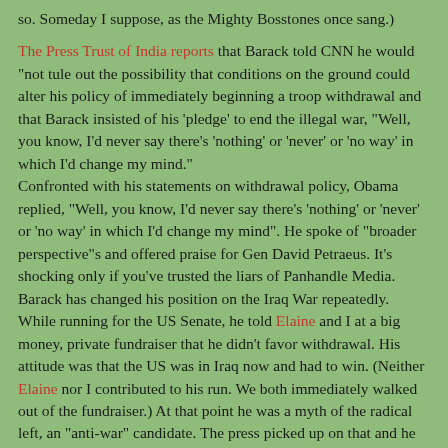so. Someday I suppose, as the Mighty Bosstones once sang.)
The Press Trust of India reports that Barack told CNN he would "not tule out the possibility that conditions on the ground could alter his policy of immediately beginning a troop withdrawal and that Barack insisted of his 'pledge' to end the illegal war, "Well, you know, I'd never say there's 'nothing' or 'never' or 'no way' in which I'd change my mind."
Confronted with his statements on withdrawal policy, Obama replied, "Well, you know, I'd never say there's 'nothing' or 'never' or 'no way' in which I'd change my mind". He spoke of "broader perspective"s and offered praise for Gen David Petraeus. It's shocking only if you've trusted the liars of Panhandle Media. Barack has changed his position on the Iraq War repeatedly. While running for the US Senate, he told Elaine and I at a big money, private fundraiser that he didn't favor withdrawal. His attitude was that the US was in Iraq now and had to win. (Neither Elaine nor I contributed to his run. We both immediately walked out of the fundraiser.) At that point he was a myth of the radical left, an "anti-war" candidate. The press picked up on that and he became the "anti-war" Senator which required ignoring not only his public statements (his many public statements) but his continued voting